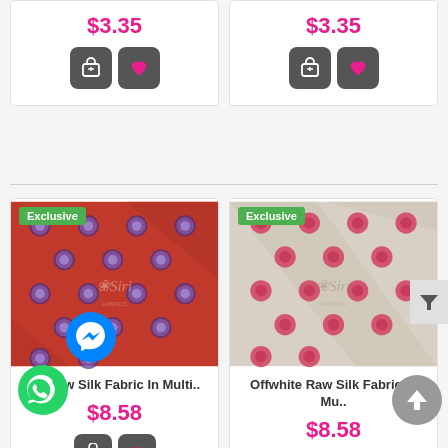[Figure (screenshot): E-commerce product listing page showing fabric products with prices and cart/wishlist buttons. Top row shows two products at $3.35 each with cart and heart buttons. Bottom row shows two 'Exclusive' labeled products: a red raw silk fabric and an offwhite raw silk fabric, both priced at $8.58. Messenger and WhatsApp floating icons visible.]
$3.35
$3.35
ch Raw Silk Fabric In Multi..
$8.58
Offwhite Raw Silk Fabric In Mu..
$8.58